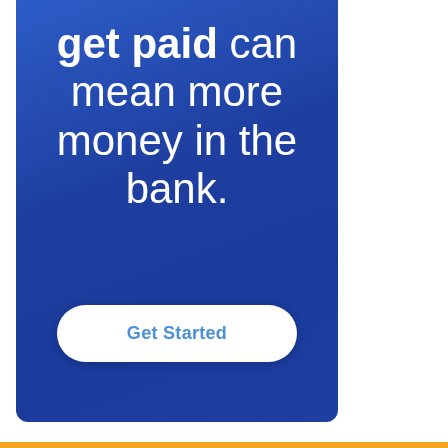get paid can mean more money in the bank.
Get Started